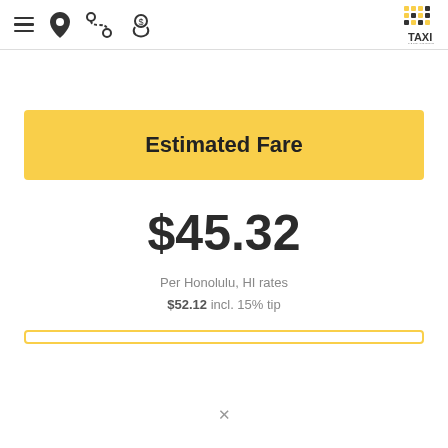[Figure (screenshot): App header bar with hamburger menu, location pin icon, route icon, fare icon, and Taxi Fare Finder logo with dot-grid pattern]
Estimated Fare
$45.32
Per Honolulu, HI rates
$52.12 incl. 15% tip